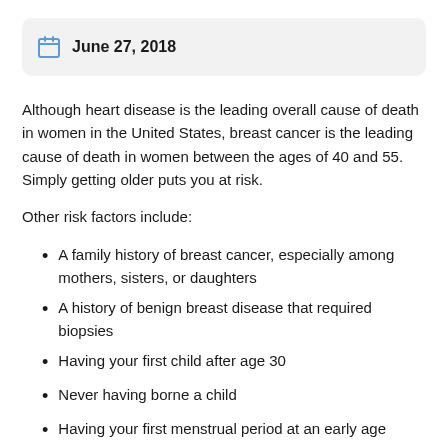June 27, 2018
Although heart disease is the leading overall cause of death in women in the United States, breast cancer is the leading cause of death in women between the ages of 40 and 55. Simply getting older puts you at risk.
Other risk factors include:
A family history of breast cancer, especially among mothers, sisters, or daughters
A history of benign breast disease that required biopsies
Having your first child after age 30
Never having borne a child
Having your first menstrual period at an early age